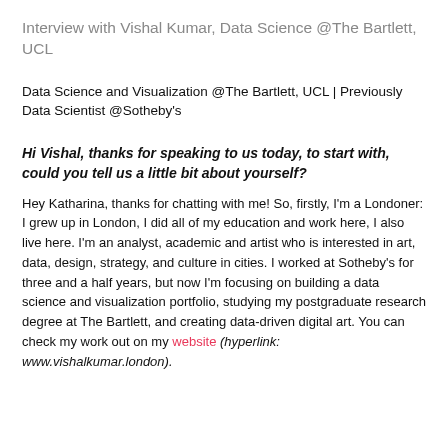Interview with Vishal Kumar, Data Science @The Bartlett, UCL
Data Science and Visualization @The Bartlett, UCL | Previously Data Scientist @Sotheby's
Hi Vishal, thanks for speaking to us today, to start with, could you tell us a little bit about yourself?
Hey Katharina, thanks for chatting with me! So, firstly, I'm a Londoner: I grew up in London, I did all of my education and work here, I also live here. I'm an analyst, academic and artist who is interested in art, data, design, strategy, and culture in cities. I worked at Sotheby's for three and a half years, but now I'm focusing on building a data science and visualization portfolio, studying my postgraduate research degree at The Bartlett, and creating data-driven digital art. You can check my work out on my website (hyperlink: www.vishalkumar.london).